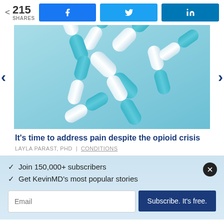215 SHARES
[Figure (photo): Teal and white capsule pills scattered and falling against a light teal background]
It's time to address pain despite the opioid crisis
LAYLA PARAST, PHD | CONDITIONS
✓  Join 150,000+ subscribers
✓  Get KevinMD's most popular stories
Email  Subscribe. It's free.